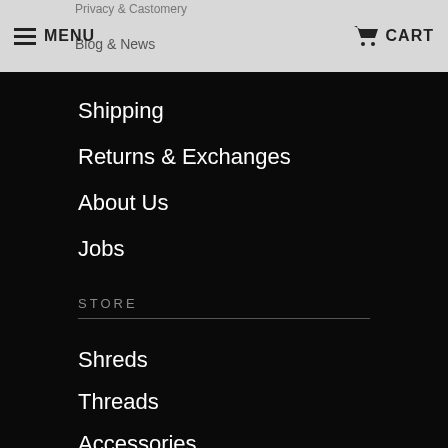MENU  CART
Shipping
Returns & Exchanges
About Us
Jobs
STORE
Shreds
Threads
Accessories
Services
Gift Cards
[Figure (infographic): Social media icons row: Twitter, Facebook, YouTube/play, Tumblr, Instagram, Email]